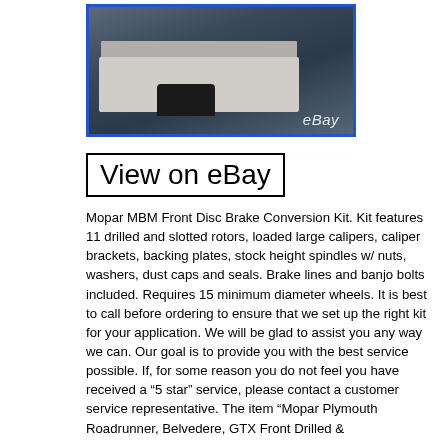[Figure (photo): Photo of a building/shop exterior with a lifted black Jeep in the foreground, parking lot visible. Has a blue border and 'eBay' watermark overlay.]
View on eBay
Mopar MBM Front Disc Brake Conversion Kit. Kit features 11 drilled and slotted rotors, loaded large calipers, caliper brackets, backing plates, stock height spindles w/ nuts, washers, dust caps and seals. Brake lines and banjo bolts included. Requires 15 minimum diameter wheels. It is best to call before ordering to ensure that we set up the right kit for your application. We will be glad to assist you any way we can. Our goal is to provide you with the best service possible. If, for some reason you do not feel you have received a “5 star” service, please contact a customer service representative. The item “Mopar Plymouth Roadrunner, Belvedere, GTX Front Drilled &